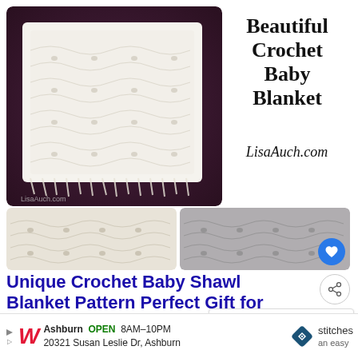[Figure (photo): White crochet baby blanket displayed on a dark purple/brown satin background, showing lacy stitch pattern. Watermark 'LisaAuch.com' at bottom left.]
Beautiful Crochet Baby Blanket
LisaAuch.com
[Figure (photo): Two thumbnail photos of the crochet blanket — a close-up white version on the left and a grey-toned version on the right, with a blue heart icon button.]
Unique Crochet Baby Shawl Blanket Pattern Perfect Gift for a newborn
[Figure (screenshot): WHAT'S NEXT panel showing a thumbnail of baby bootie and text 'Free Baby Bootie Patte...']
Ashburn  OPEN  8AM–10PM
20321 Susan Leslie Dr, Ashburn